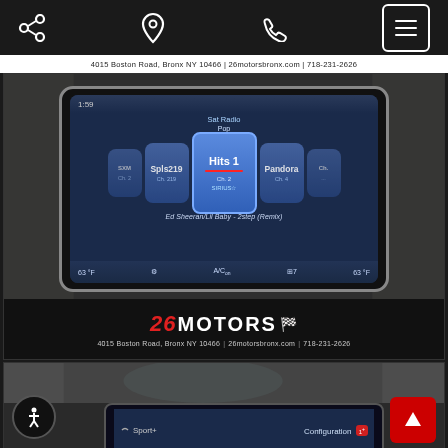Navigation bar with share, location, phone, and menu icons
4015 Boston Road, Bronx NY 10466 | 26motorsbronx.com | 718-231-2626
[Figure (photo): Car infotainment touchscreen showing SiriusXM Satellite Radio on Hits 1, Ch. 2, Pop category. Song: Ed Sheeran/Lil Baby - 2step (Remix). Temperature 63°F shown on both sides. A/C on. 26 Motors dealership logo and address overlay at bottom: 4015 Boston Road, Bronx NY 10466 | 26motorsbronx.com | 718-231-2626]
[Figure (photo): Partial view of another car infotainment screen showing Sport+ mode and Configuration menu. Accessibility button visible bottom left, red up-arrow button bottom right.]